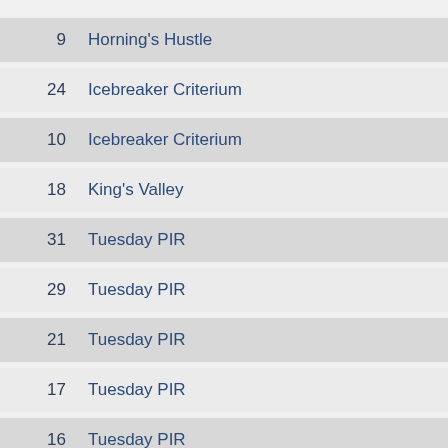9  Horning's Hustle
24  Icebreaker Criterium
10  Icebreaker Criterium
18  King's Valley
31  Tuesday PIR
29  Tuesday PIR
21  Tuesday PIR
17  Tuesday PIR
16  Tuesday PIR
6  Tuesday PIR
6  Tuesday PIR